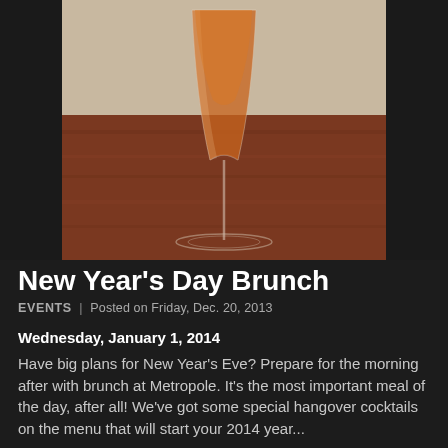[Figure (photo): A champagne flute filled with an orange-amber cocktail, placed on a reddish-brown wooden surface against a light gray background.]
New Year's Day Brunch
EVENTS | Posted on Friday, Dec. 20, 2013
Wednesday, January 1, 2014
Have big plans for New Year's Eve? Prepare for the morning after with brunch at Metropole. It's the most important meal of the day, after all! We've got some special hangover cocktails on the menu that will start your 2014 year...